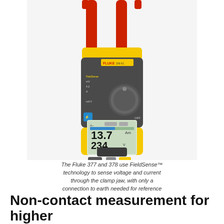[Figure (photo): Photo of a Fluke 377 or 378 clamp meter with red clamp jaws at top, yellow and gray body, rotary selector dial, and digital display showing readings 13.7 and 234]
The Fluke 377 and 378 use FieldSense™ technology to sense voltage and current through the clamp jaw, with only a connection to earth needed for reference
Non-contact measurement for higher